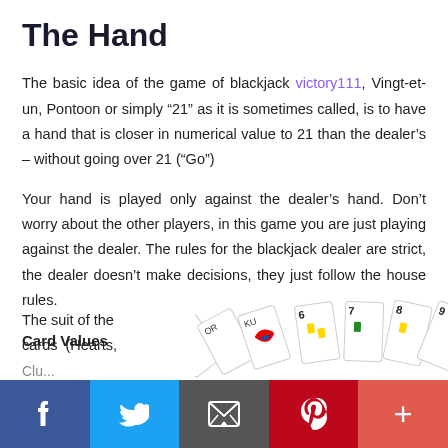The Hand
The basic idea of the game of blackjack victory111, Vingt-et-un, Pontoon or simply “21” as it is sometimes called, is to have a hand that is closer in numerical value to 21 than the dealer’s – without going over 21 (“Go”)
Your hand is played only against the dealer’s hand. Don’t worry about the other players, in this game you are just playing against the dealer. The rules for the blackjack dealer are strict, the dealer doesn’t make decisions, they just follow the house rules.
Card Values
The suit of the cards (Hearts, Clubs...
[Figure (photo): A fan of playing cards spread out showing numbered cards 6, 7, 8, 9 and face cards]
f  Twitter  Email  Pinterest  +